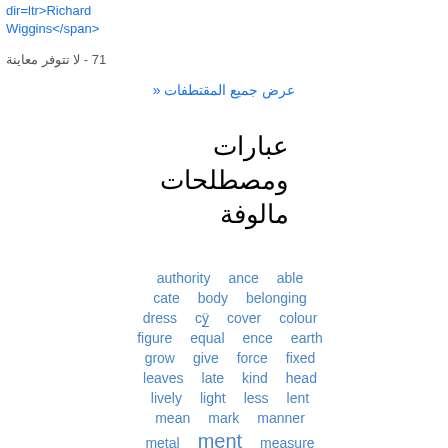dir=ltr>Richard Wiggins</span>
17 - لا تتوفر معاينة
عرض جميع المقتطفات «
عبارات ومصطلحات مالوفة
authority  ance  able
cate  body  belonging
dress  cy  cover  colour
figure  equal  ence  earth
grow  give  force  fixed
leaves  late  kind  head
lively  light  less  lent
mean  mark  manner
metal  ment  measure
ness  natural  nate  mind